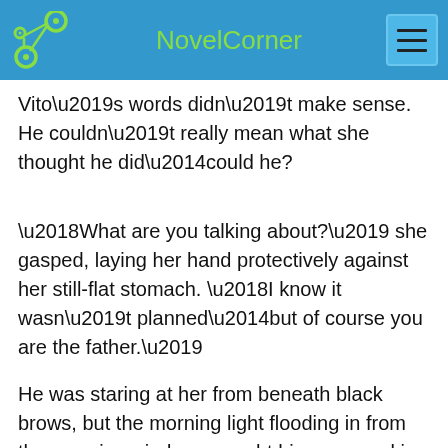NovelCorner
Vito’s words didn’t make sense. He couldn’t really mean what she thought he did—could he?
‘What are you talking about?’ she gasped, laying her hand protectively against her still-flat stomach. ‘I know it wasn’t planned—but of course you are the father.’
He was staring at her from beneath black brows, but the morning light flooding in from the massive windows caught his eyes, making them look almost metallic. For a moment she hardly recognised him. This